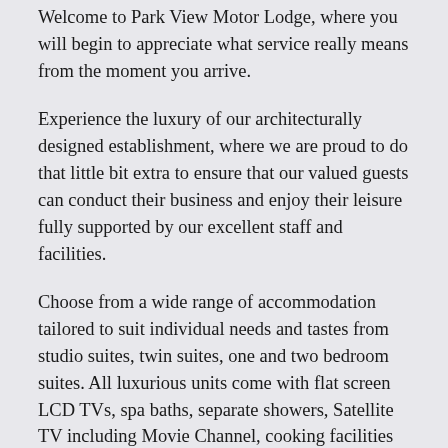Welcome to Park View Motor Lodge, where you will begin to appreciate what service really means from the moment you arrive.
Experience the luxury of our architecturally designed establishment, where we are proud to do that little bit extra to ensure that our valued guests can conduct their business and enjoy their leisure fully supported by our excellent staff and facilities.
Choose from a wide range of accommodation tailored to suit individual needs and tastes from studio suites, twin suites, one and two bedroom suites. All luxurious units come with flat screen LCD TVs, spa baths, separate showers, Satellite TV including Movie Channel, cooking facilities and free broadband internet access (both fixed line and wireless).
We are ideally located close to the Waikato Stadium. It